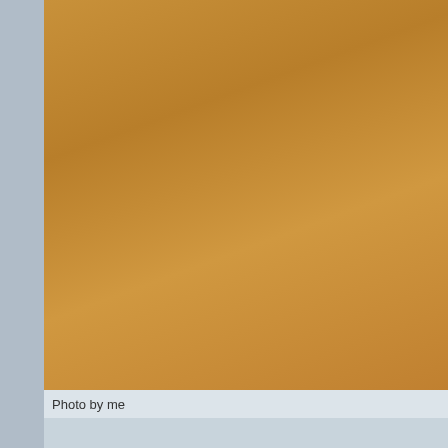[Figure (photo): Top photo showing a brown/tan surface, possibly cardboard or paper, with a plain flat texture.]
Photo by me
[Figure (photo): Night photo of a Historic Fourth Avenue banner mounted on a street pole, with trees in the background and a street light at the bottom. The banner reads 'HISTORIC FOURTH AVENUE' with website 'FOURTHAVENUE.ORG' and a small 'Link' logo.]